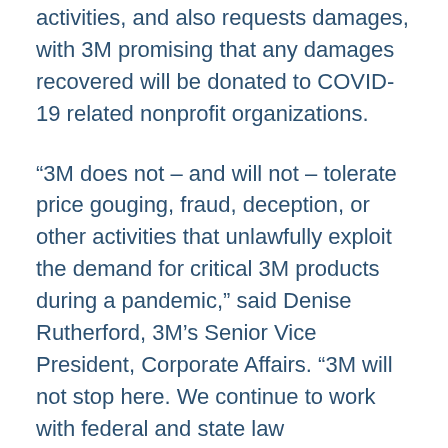activities, and also requests damages, with 3M promising that any damages recovered will be donated to COVID-19 related nonprofit organizations.
“3M does not – and will not – tolerate price gouging, fraud, deception, or other activities that unlawfully exploit the demand for critical 3M products during a pandemic,” said Denise Rutherford, 3M’s Senior Vice President, Corporate Affairs. “3M will not stop here. We continue to work with federal and state law enforcement authorities, and around the world, to investigate and track down those who are illegally taking advantage of this situation for their own gain.”